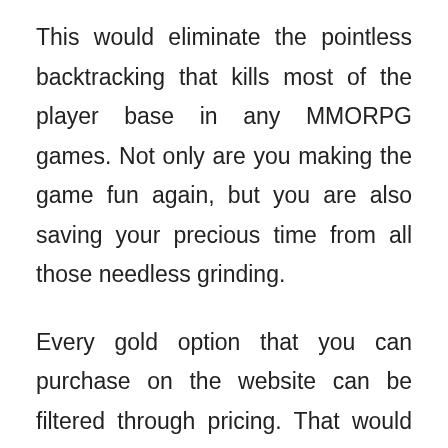This would eliminate the pointless backtracking that kills most of the player base in any MMORPG games. Not only are you making the game fun again, but you are also saving your precious time from all those needless grinding.
Every gold option that you can purchase on the website can be filtered through pricing. That would mean that there is no reason for you to spend large amounts just for a bit of extra gold. Instead, you can simply select the amount that you